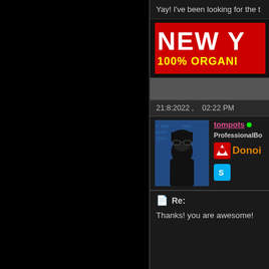Yay! I've been looking for the t
[Figure (infographic): Red advertisement banner with white bold text 'NEW Y' and yellow bold text '100% ORGANI' on black background]
21:8:2022 ,   02:22 PM
[Figure (photo): User avatar showing a person in black outfit and sunglasses against a digital matrix background]
tompots • ProfessionalBo Donor
Re:
Thanks! you are awesome!